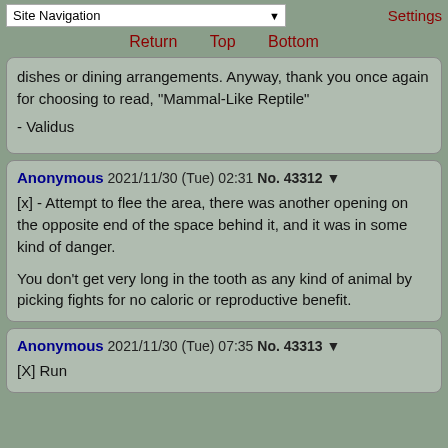Site Navigation | Settings | Return | Top | Bottom
dishes or dining arrangements. Anyway, thank you once again for choosing to read, "Mammal-Like Reptile"
- Validus
Anonymous 2021/11/30 (Tue) 02:31 No. 43312 ▼

[x] - Attempt to flee the area, there was another opening on the opposite end of the space behind it, and it was in some kind of danger.

You don't get very long in the tooth as any kind of animal by picking fights for no caloric or reproductive benefit.
Anonymous 2021/11/30 (Tue) 07:35 No. 43313 ▼

[X] Run